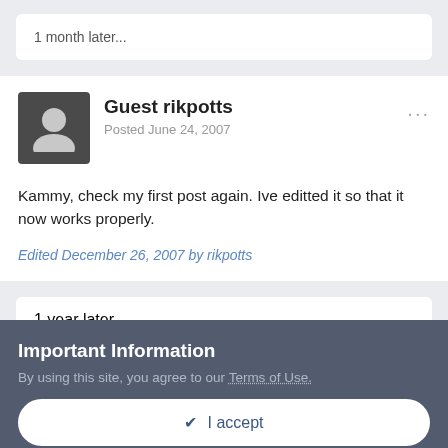1 month later...
Guest rikpotts
Posted June 24, 2007
Kammy, check my first post again. Ive editted it so that it now works properly.
Edited December 26, 2007 by rikpotts
1 year later...
Important Information
By using this site, you agree to our Terms of Use.
✓  I accept